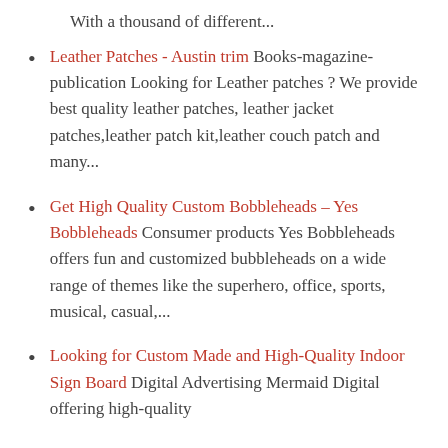With a thousand of different...
Leather Patches - Austin trim Books-magazine-publication Looking for Leather patches ? We provide best quality leather patches, leather jacket patches,leather patch kit,leather couch patch and many...
Get High Quality Custom Bobbleheads – Yes Bobbleheads Consumer products Yes Bobbleheads offers fun and customized bubbleheads on a wide range of themes like the superhero, office, sports, musical, casual,...
Looking for Custom Made and High-Quality Indoor Sign Board Digital Advertising Mermaid Digital offering high-quality